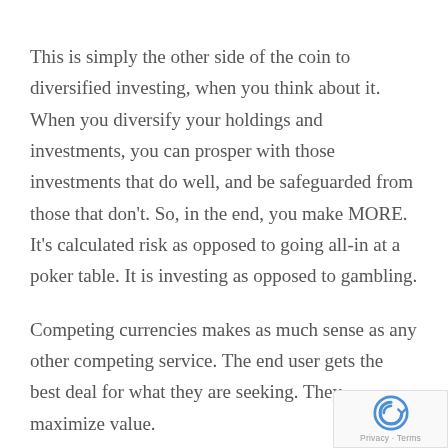This is simply the other side of the coin to diversified investing, when you think about it. When you diversify your holdings and investments, you can prosper with those investments that do well, and be safeguarded from those that don't. So, in the end, you make MORE. It's calculated risk as opposed to going all-in at a poker table. It is investing as opposed to gambling.
Competing currencies makes as much sense as any other competing service. The end user gets the best deal for what they are seeking. They maximize value.
[Figure (logo): Google reCAPTCHA logo with Privacy and Terms text]